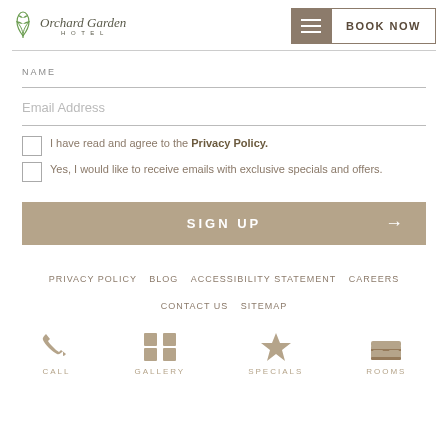Orchard Garden Hotel — BOOK NOW
NAME
Email Address
I have read and agree to the Privacy Policy.
Yes, I would like to receive emails with exclusive specials and offers.
SIGN UP
PRIVACY POLICY  BLOG  ACCESSIBILITY STATEMENT  CAREERS  CONTACT US  SITEMAP
CALL  GALLERY  SPECIALS  ROOMS